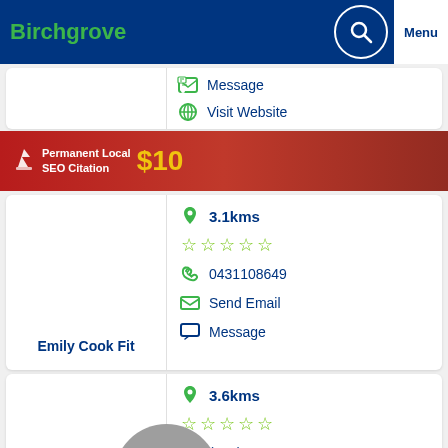Birchgrove | Menu
[Figure (infographic): Permanent Local SEO Citation $10 promotional banner]
Message | Visit Website
3.1kms | 0431108649 | Send Email | Message
Emily Cook Fit
3.6kms | (047)8735517 | Send Email
Gymtel